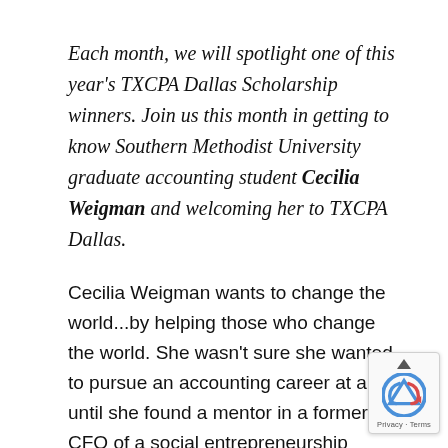Each month, we will spotlight one of this year's TXCPA Dallas Scholarship winners. Join us this month in getting to know Southern Methodist University graduate accounting student Cecilia Weigman and welcoming her to TXCPA Dallas.
Cecilia Weigman wants to change the world...by helping those who change the world. She wasn't sure she wanted to pursue an accounting career at all until she found a mentor in a former CFO of a social entrepreneurship business, a restaurant that rehabilitates teens coming out of juvenile detention. Since Cecilia's passion is human rights and affecting social change, she was inspired through this